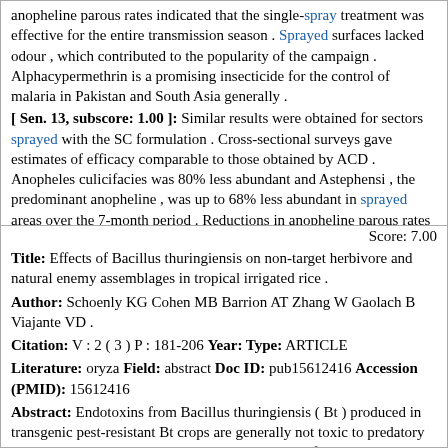anopheline parous rates indicated that the single-spray treatment was effective for the entire transmission season . Sprayed surfaces lacked odour , which contributed to the popularity of the campaign . Alphacypermethrin is a promising insecticide for the control of malaria in Pakistan and South Asia generally . [ Sen. 13, subscore: 1.00 ]: Similar results were obtained for sectors sprayed with the SC formulation . Cross-sectional surveys gave estimates of efficacy comparable to those obtained by ACD . Anopheles culicifacies was 80% less abundant and Astephensi , the predominant anopheline , was up to 68% less abundant in sprayed areas over the 7-month period . Reductions in anopheline parous rates indicated that the single-spray treatment was effective for the entire transmission season . Sprayed surfaces lacked odour , which contributed to the popularity of the campaign . Alphacypermethrin is a promising insecticide for the control of malaria in Pakistan and South Asia generally .
Score: 7.00
Title: Effects of Bacillus thuringiensis on non-target herbivore and natural enemy assemblages in tropical irrigated rice .
Author: Schoenly KG Cohen MB Barrion AT Zhang W Gaolach B Viajante VD .
Citation: V : 2 ( 3 ) P : 181-206 Year: Type: ARTICLE
Literature: oryza Field: abstract Doc ID: pub15612416 Accession (PMID): 15612416
Abstract: Endotoxins from Bacillus thuringiensis ( Bt ) produced in transgenic pest-resistant Bt crops are generally not toxic to predatory and parasitic arthropods . However , elimination of Bt-susceptible prey and hosts in Bt crops could reduce predator and parasitoid abundance